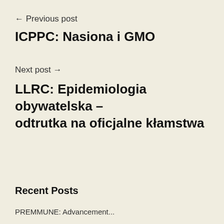← Previous post
ICPPC: Nasiona i GMO
Next post →
LLRC: Epidemiologia obywatelska – odtrutka na oficjalne kłamstwa
Recent Posts
PREMMUNE: Advancement...